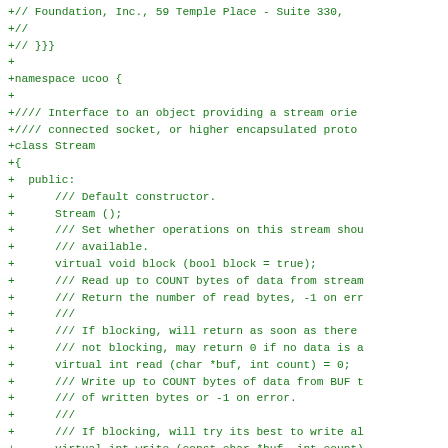+// Foundation, Inc., 59 Temple Place - Suite 330,
+//
+// }}}
+
+namespace ucoo {
+
+//// Interface to an object providing a stream orie
+//// connected socket, or higher encapsulated proto
+class Stream
+{
+  public:
+      /// Default constructor.
+      Stream ();
+      /// Set whether operations on this stream shou
+      /// available.
+      virtual void block (bool block = true);
+      /// Read up to COUNT bytes of data from stream
+      /// Return the number of read bytes, -1 on err
+      ///
+      /// If blocking, will return as soon as there
+      /// not blocking, may return 0 if no data is a
+      virtual int read (char *buf, int count) = 0;
+      /// Write up to COUNT bytes of data from BUF t
+      /// of written bytes or -1 on error.
+      ///
+      /// If blocking, will try its best to write al
+      virtual int write (const char *buf, int count)
+      /// Shortcut to read one character.  Return -1
+      /// character is available.
+      int getc ();